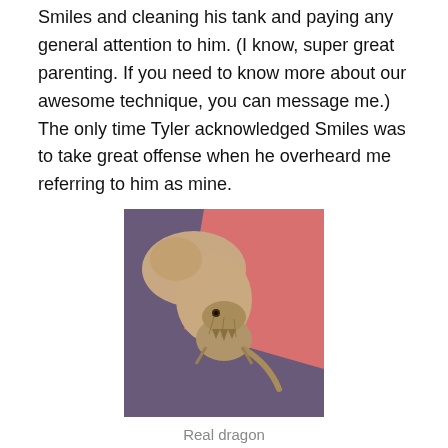Smiles and cleaning his tank and paying any general attention to him. (I know, super great parenting. If you need to know more about our awesome technique, you can message me.) The only time Tyler acknowledged Smiles was to take great offense when he overheard me referring to him as mine.
[Figure (photo): A small bearded dragon lizard resting on a person's hand/arm, with a pink shirt visible in the background.]
Real dragon
I had pretty much accepted my new chores, only half-heartedly resenting them, the same as all the rest. I mean,